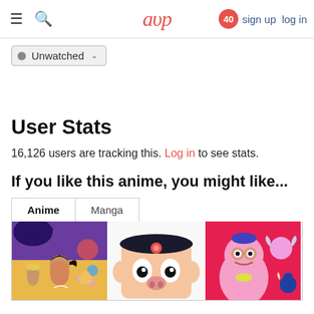aup  40  sign up  log in
Unwatched ▾
User Stats
16,126 users are tracking this. Log in to see stats.
If you like this anime, you might like...
Anime | Manga tabs
[Figure (illustration): Three anime cover thumbnails in a horizontal row: left shows colorful fantasy characters on yellow background (Aladdin-style), center shows a cartoon character face with pink features on white, right shows pink cartoon genie-like characters on red background.]